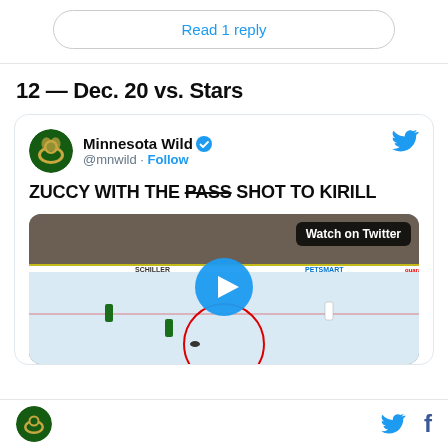Read 1 reply
12 — Dec. 20 vs. Stars
[Figure (screenshot): Tweet from Minnesota Wild (@mnwild) with verified badge and Follow button. Tweet text reads: ZUCCY WITH THE PASS SHOT TO KIRILL (PASS is struck through). Below is a video thumbnail of a hockey game with a play button and 'Watch on Twitter' overlay.]
Minnesota Wild logo, Twitter bird icon, Facebook icon